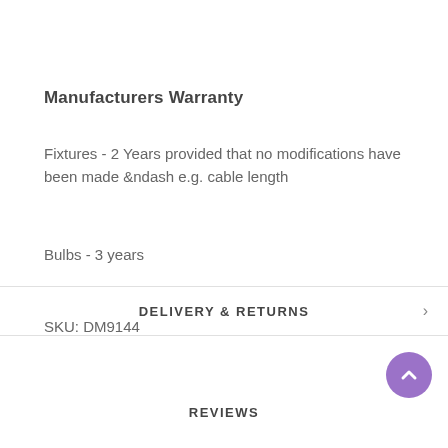Manufacturers Warranty
Fixtures - 2 Years provided that no modifications have been made &ndash e.g. cable length
Bulbs - 3 years
SKU: DM9144
DELIVERY & RETURNS
REVIEWS